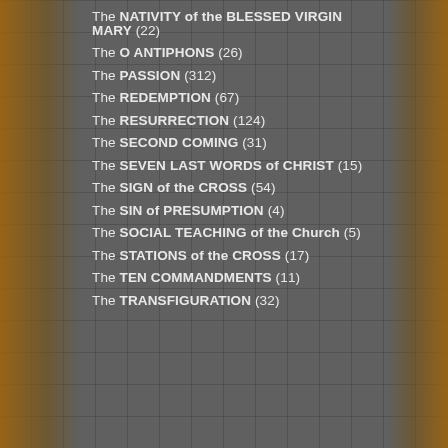The NATIVITY of the BLESSED VIRGIN MARY (22)
The O ANTIPHONS (26)
The PASSION (312)
The REDEMPTION (67)
The RESURRECTION (124)
The SECOND COMING (31)
The SEVEN LAST WORDS of CHRIST (15)
The SIGN of the CROSS (54)
The SIN of PRESUMPTION (4)
The SOCIAL TEACHING of the Church (5)
The STATIONS of the CROSS (17)
The TEN COMMANDMENTS (11)
The TRANSFIGURATION (32)